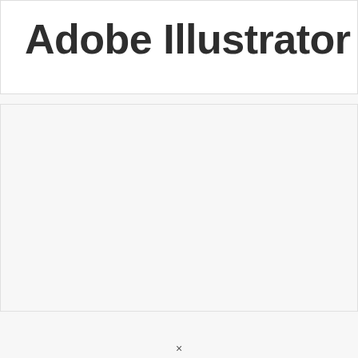Adobe Illustrator
[Figure (other): Large blank gray content area below the title header]
×